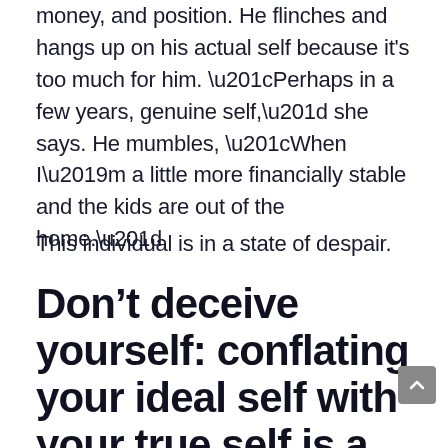money, and position. He flinches and hangs up on his actual self because it's too much for him. “Perhaps in a few years, genuine self,” she says. He mumbles, “When I’m a little more financially stable and the kids are out of the home.”
This individual is in a state of despair.
Don’t deceive yourself: conflating your ideal self with your true self is a recipe for disaster.